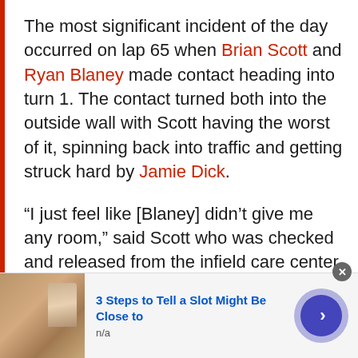The most significant incident of the day occurred on lap 65 when Brian Scott and Ryan Blaney made contact heading into turn 1. The contact turned both into the outside wall with Scott having the worst of it, spinning back into traffic and getting struck hard by Jamie Dick.
“I just feel like [Blaney] didn’t give me any room,” said Scott who was checked and released from the infield care center as was Dick. “I feel like I went in there, he stuck right to my door and it just caused me to…”
[Figure (other): Advertisement banner at bottom: thumbnail image on left, text '3 Steps to Tell a Slot Might Be Close to' in blue with 'n/a' below, navigation arrow button on right]